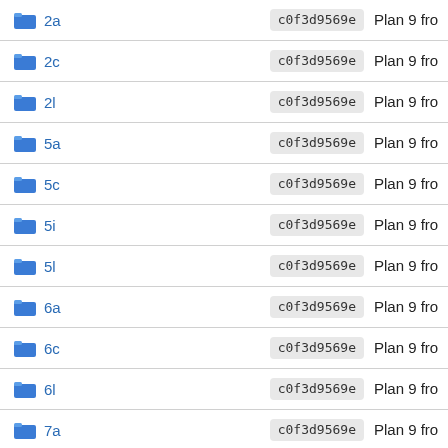2a  c0f3d9569e  Plan 9 fro
2c  c0f3d9569e  Plan 9 fro
2l  c0f3d9569e  Plan 9 fro
5a  c0f3d9569e  Plan 9 fro
5c  c0f3d9569e  Plan 9 fro
5i  c0f3d9569e  Plan 9 fro
5l  c0f3d9569e  Plan 9 fro
6a  c0f3d9569e  Plan 9 fro
6c  c0f3d9569e  Plan 9 fro
6l  c0f3d9569e  Plan 9 fro
7a  c0f3d9569e  Plan 9 fro